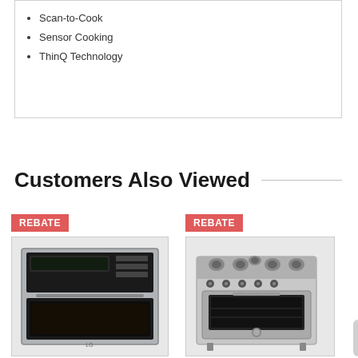Scan-to-Cook
Sensor Cooking
ThinQ Technology
Customers Also Viewed
[Figure (photo): Built-in microwave/oven combo appliance in stainless steel with REBATE badge]
[Figure (photo): Freestanding gas range in stainless steel with 5 burners with REBATE badge]